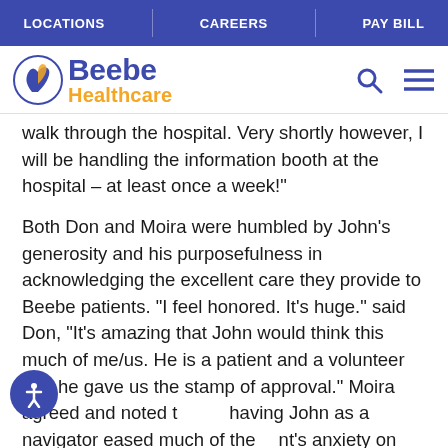LOCATIONS | CAREERS | PAY BILL
[Figure (logo): Beebe Healthcare logo with blue and orange text and hand icon]
walk through the hospital. Very shortly however, I will be handling the information booth at the hospital – at least once a week!"
Both Don and Moira were humbled by John's generosity and his purposefulness in acknowledging the excellent care they provide to Beebe patients. "I feel honored. It's huge." said Don, "It's amazing that John would think this much of me/us. He is a patient and a volunteer and he gave us the stamp of approval." Moira agreed and noted that having John as a navigator eased much of the patient's anxiety on their pre-op day. She also noted that in John's absence, the departments have gar